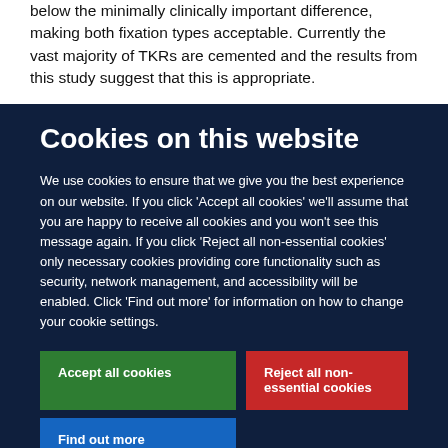below the minimally clinically important difference, making both fixation types acceptable. Currently the vast majority of TKRs are cemented and the results from this study suggest that this is appropriate.
Cookies on this website
We use cookies to ensure that we give you the best experience on our website. If you click 'Accept all cookies' we'll assume that you are happy to receive all cookies and you won't see this message again. If you click 'Reject all non-essential cookies' only necessary cookies providing core functionality such as security, network management, and accessibility will be enabled. Click 'Find out more' for information on how to change your cookie settings.